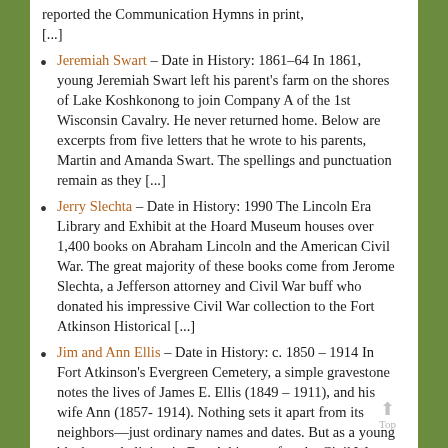[...] (truncated top fragment)
Jeremiah Swart – Date in History: 1861–64 In 1861, young Jeremiah Swart left his parent's farm on the shores of Lake Koshkonong to join Company A of the 1st Wisconsin Cavalry. He never returned home. Below are excerpts from five letters that he wrote to his parents, Martin and Amanda Swart. The spellings and punctuation remain as they [...]
Jerry Slechta – Date in History: 1990 The Lincoln Era Library and Exhibit at the Hoard Museum houses over 1,400 books on Abraham Lincoln and the American Civil War. The great majority of these books come from Jerome Slechta, a Jefferson attorney and Civil War buff who donated his impressive Civil War collection to the Fort Atkinson Historical [...]
Jim and Ann Ellis – Date in History: c. 1850 – 1914 In Fort Atkinson's Evergreen Cemetery, a simple gravestone notes the lives of James E. Ellis (1849 – 1911), and his wife Ann (1857-1914). Nothing sets it apart from its neighbors—just ordinary names and dates. But as a young black couple living in Fort Atkinson after the Civil War, [...]
Johanna Powals Clark – Date in History: